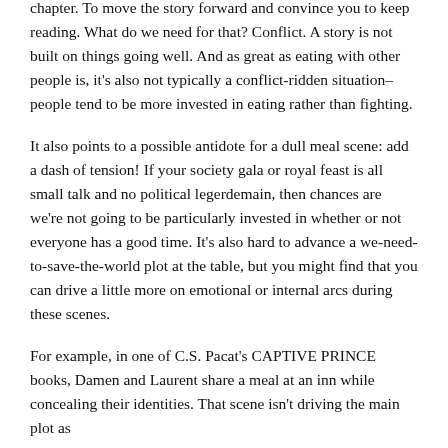chapter. To move the story forward and convince you to keep reading. What do we need for that? Conflict. A story is not built on things going well. And as great as eating with other people is, it's also not typically a conflict-ridden situation– people tend to be more invested in eating rather than fighting.
It also points to a possible antidote for a dull meal scene: add a dash of tension! If your society gala or royal feast is all small talk and no political legerdemain, then chances are we're not going to be particularly invested in whether or not everyone has a good time. It's also hard to advance a we-need-to-save-the-world plot at the table, but you might find that you can drive a little more on emotional or internal arcs during these scenes.
For example, in one of C.S. Pacat's CAPTIVE PRINCE books, Damen and Laurent share a meal at an inn while concealing their identities. That scene isn't driving the main plot as